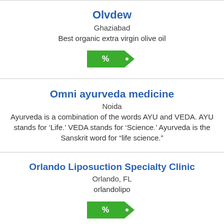Olvdew
Ghaziabad
Best organic extra virgin olive oil
[Figure (infographic): Green tag/badge shape with % symbol and a dot]
Omni ayurveda medicine
Noida
Ayurveda is a combination of the words AYU and VEDA. AYU stands for ‘Life.’ VEDA stands for ‘Science.’ Ayurveda is the Sanskrit word for “life science.”
Orlando Liposuction Specialty Clinic
Orlando, FL
orlandolipo
[Figure (infographic): Green tag/badge shape with % symbol and a dot]